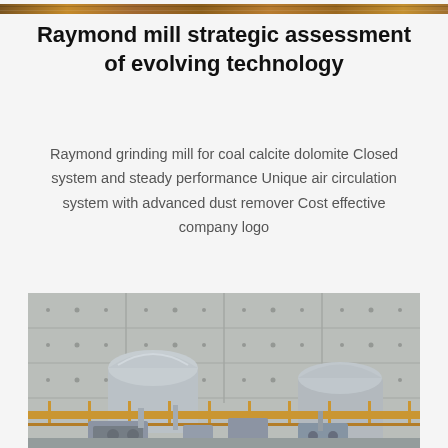[Figure (photo): Top strip image of wooden/industrial material surface]
Raymond mill strategic assessment of evolving technology
Raymond grinding mill for coal calcite dolomite Closed system and steady performance Unique air circulation system with advanced dust remover Cost effective company logo
[Figure (photo): Industrial photo showing Raymond mill equipment — two large cylindrical silos/tanks with dome tops mounted on a platform with yellow railings in front of a concrete wall with bolt holes]